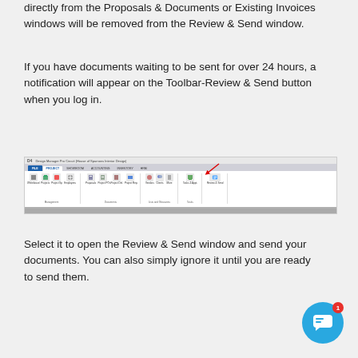directly from the Proposals & Documents or Existing Invoices windows will be removed from the Review & Send window.
If you have documents waiting to be sent for over 24 hours, a notification will appear on the Toolbar-Review & Send button when you log in.
[Figure (screenshot): Screenshot of a software application toolbar showing tabs: FILE, PROJECT, SHOWROOM, ACCOUNTING, INVENTORY, HRM. The PROJECT tab is active and shows ribbon icons for Whiteboard, Projects, Project Specifications, Employees Timer, Proposals, Project POs/PNOs, Project Delivery Tickets, Project Reports, Vendors, Clients, More, Tasks & Appointments, Review & Send. A red arrow points to the Review & Send button on the right side.]
Select it to open the Review & Send window and send your documents. You can also simply ignore it until you are ready to send them.